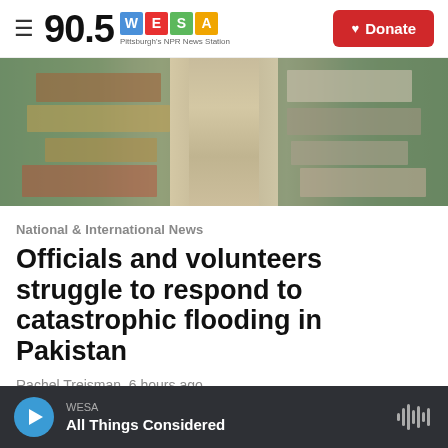90.5 WESA — Pittsburgh's NPR News Station | Donate
[Figure (photo): Aerial view of flooding in Pakistan showing a narrow road or levee with displaced people and makeshift shelters on either side, surrounded by floodwaters]
National & International News
Officials and volunteers struggle to respond to catastrophic flooding in Pakistan
Rachel Treisman,  6 hours ago
WESA — All Things Considered